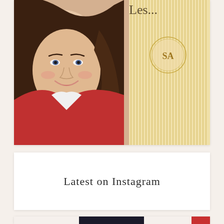[Figure (photo): A smiling woman with long brown hair, wearing a red cardigan and white blouse, leaning forward toward the camera. The right half of the image has a gold vertical stripe pattern with a circular 'SA' monogram logo. A cursive signature is partially visible at the top right.]
Latest on Instagram
[Figure (photo): A book cover for 'setapartgirl', a podcast for every woman, hosted by Leslie Ludy. The cover shows a white flower on a dark background. To the right is a partial view of a red object.]